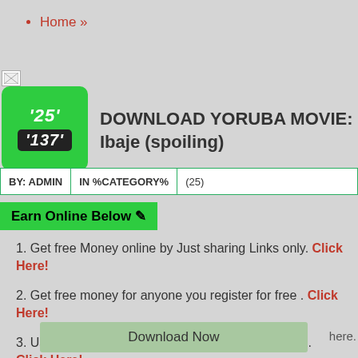Home »
[Figure (other): Small broken image icon placeholder in top left]
DOWNLOAD YORUBA MOVIE: Ibaje (spoiling)
'25' '137'
| BY: ADMIN | IN %CATEGORY% | (25) |
| --- | --- | --- |
Earn Online Below ✎
1. Get free Money online by Just sharing Links only. Click Here!
2. Get free money for anyone you register for free . Click Here!
3. Use your WhatsApp to get free N150,000 for free. Click Here!
Download Now
here.